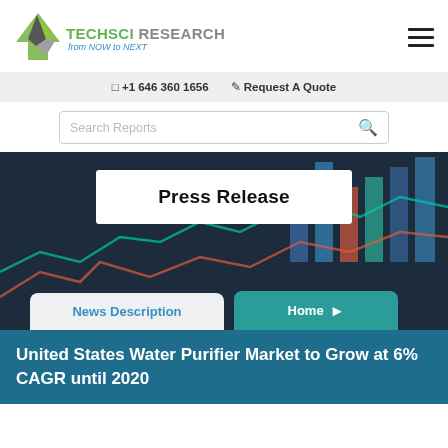TechSci Research from NOW to NEXT
+1 646 360 1656  Request A Quote
Search Reports
Press Release
News Description
Home
United States Water Purifier Market to Grow at 6% CAGR until 2020